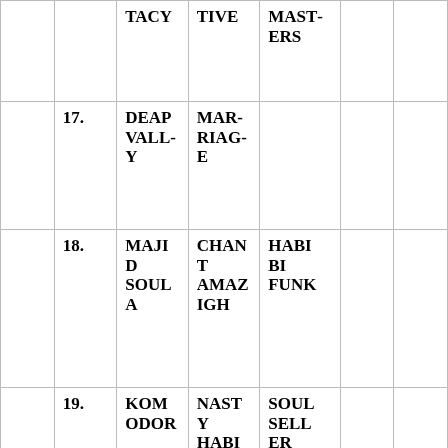|  |  | TACY | TIVE | MASTERS |  |  |
|  | 17. | DEAP VALLEY | MARRIAGE |  |  |  |
|  | 18. | MAJID SOULA | CHANT AMAZIGH | HABIBI FUNK |  |  |
|  | 19. | KOMODOR | NASTY HABITS | SOUL SELLER RECORDS |  |  |
|  |  |  |  |  |  |  |